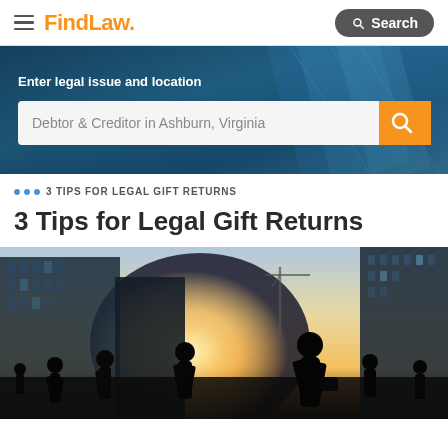FindLaw — Search
[Figure (infographic): Hero search banner with dark blue tinted background showing legal/city imagery. Contains text 'Enter legal issue and location' and a search box with placeholder 'Debtor & Creditor in Ashburn, Virginia' and an orange search button.]
3 TIPS FOR LEGAL GIFT RETURNS
3 Tips for Legal Gift Returns
[Figure (photo): Photograph of silhouetted business people walking in an urban setting with tall glass buildings around them and a bright sun/sky in the background.]